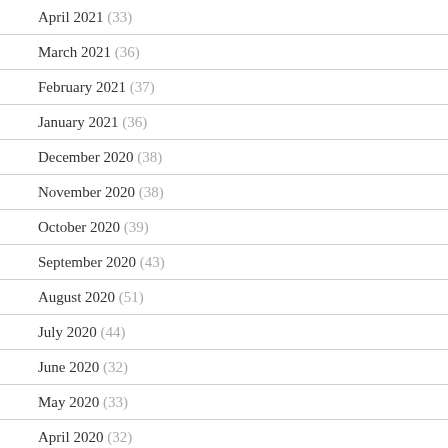April 2021 (33)
March 2021 (36)
February 2021 (37)
January 2021 (36)
December 2020 (38)
November 2020 (38)
October 2020 (39)
September 2020 (43)
August 2020 (51)
July 2020 (44)
June 2020 (32)
May 2020 (33)
April 2020 (32)